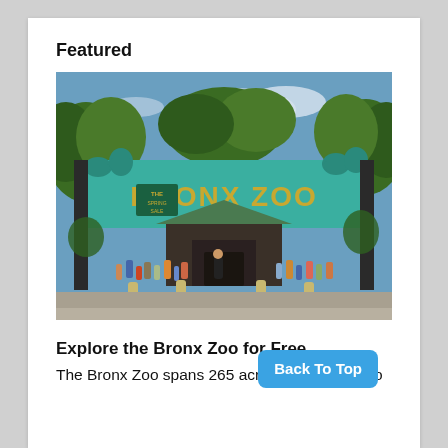Featured
[Figure (photo): Photo of the Bronx Zoo entrance gate with teal animal silhouette arch and 'BRONX ZOO' lettering in gold. Crowd of visitors visible below the arch, surrounded by trees and blue sky.]
Explore the Bronx Zoo for Free
The Bronx Zoo spans 265 acres and is home to